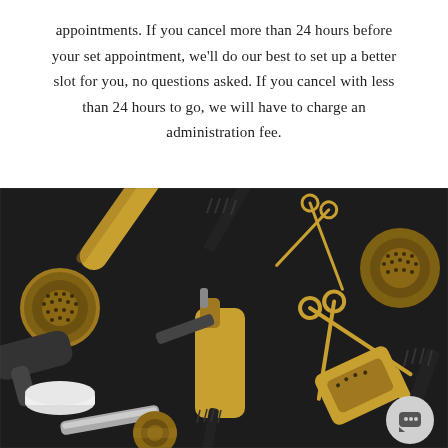appointments. If you cancel more than 24 hours before your set appointment, we'll do our best to set up a better slot for you, no questions asked. If you cancel with less than 24 hours to go, we will have to charge an administration fee.
[Figure (photo): Flat lay of professional hair salon tools on a dark background: round brushes, scissors, combs, spray bottles, a flat iron, and other styling tools arranged decoratively. A chat bubble icon is visible in the bottom right corner.]